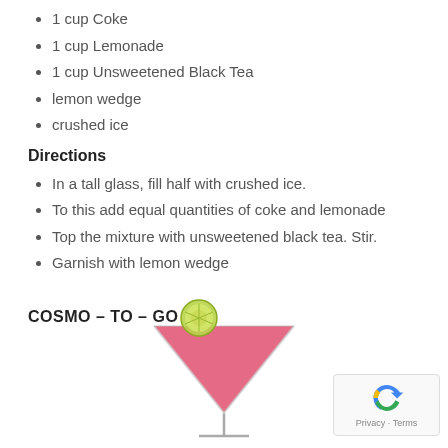1 cup Coke
1 cup Lemonade
1 cup Unsweetened Black Tea
lemon wedge
crushed ice
Directions
In a tall glass, fill half with crushed ice.
To this add equal quantities of coke and lemonade
Top the mixture with unsweetened black tea. Stir.
Garnish with lemon wedge
COSMO – TO – GO
[Figure (photo): A cosmopolitan cocktail in a martini glass garnished with a lime slice, shown from front view. Pink/red colored drink.]